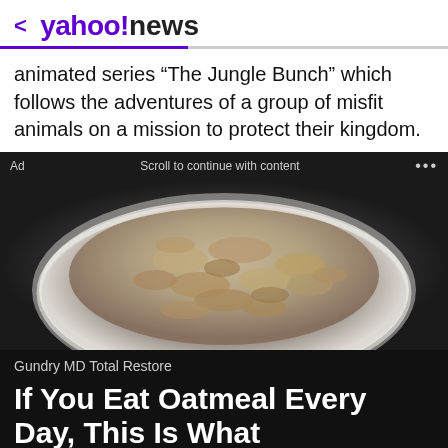< yahoo!news
animated series “The Jungle Bunch” which follows the adventures of a group of misfit animals on a mission to protect their kingdom.
Ad   Scroll to continue with content   ...
[Figure (photo): A bowl of cooked oatmeal photographed from above on a dark background]
Gundry MD Total Restore
If You Eat Oatmeal Every Day, This Is What